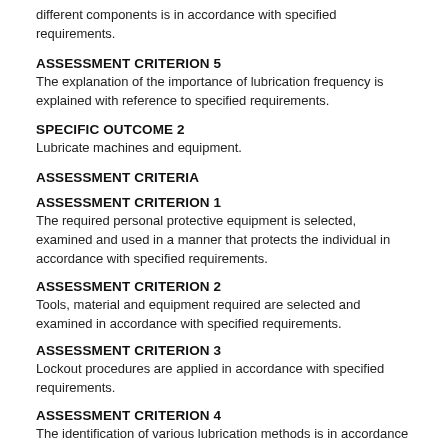different components is in accordance with specified requirements.
ASSESSMENT CRITERION 5
The explanation of the importance of lubrication frequency is explained with reference to specified requirements.
SPECIFIC OUTCOME 2
Lubricate machines and equipment.
ASSESSMENT CRITERIA
ASSESSMENT CRITERION 1
The required personal protective equipment is selected, examined and used in a manner that protects the individual in accordance with specified requirements.
ASSESSMENT CRITERION 2
Tools, material and equipment required are selected and examined in accordance with specified requirements.
ASSESSMENT CRITERION 3
Lockout procedures are applied in accordance with specified requirements.
ASSESSMENT CRITERION 4
The identification of various lubrication methods is in accordance with specified requirements.